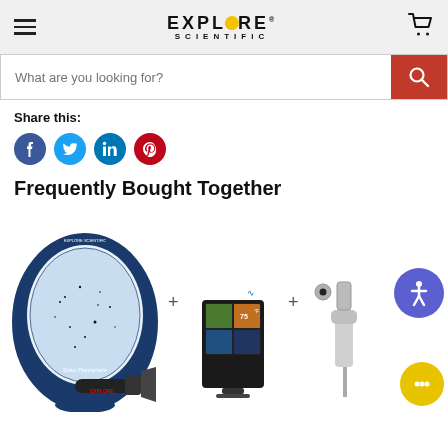[Figure (screenshot): Explore Scientific website header with hamburger menu, logo, and cart icon on grey background]
[Figure (screenshot): Search bar with placeholder text 'What are you looking for?' and red search button]
Share this:
[Figure (infographic): Social media share icons: Facebook (blue), Twitter (light blue), LinkedIn (dark blue), Pinterest (red)]
Frequently Bought Together
[Figure (photo): Product images: Sirius Planisphere star map, flashlight, weather station display, and weather sensor; with accessibility and chat overlay buttons]